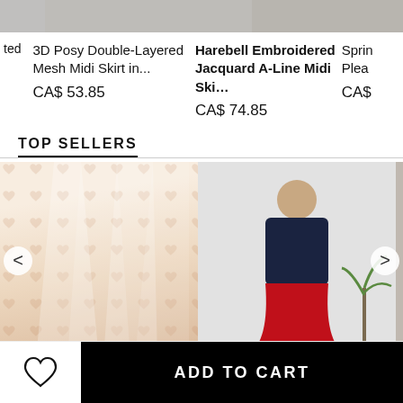[Figure (screenshot): Top partial product images showing skirts]
3D Posy Double-Layered Mesh Midi Skirt in...
CA$ 53.85
Harebell Embroidered Jacquard A-Line Midi Ski...
CA$ 74.85
Sprin Plea
CA$
TOP SELLERS
[Figure (photo): Close-up of a patterned pleated midi skirt with heart/floral print in white and tan]
[Figure (photo): Model wearing a navy turtleneck sweater and red flared mini skirt, standing next to a palm plant]
ADD TO CART